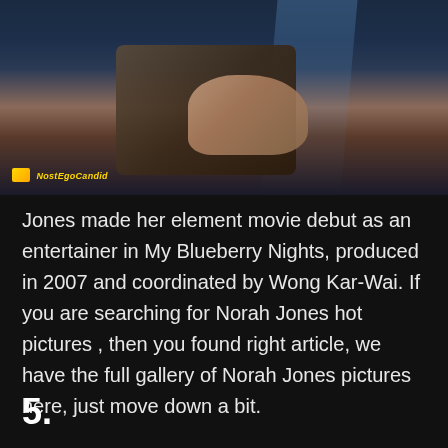[Figure (photo): Dark cinematic scene showing a hand resting on a suitcase with blue lighting, with a logo watermark in the bottom left reading 'NostEgoCandid']
Jones made her element movie debut as an entertainer in My Blueberry Nights, produced in 2007 and coordinated by Wong Kar-Wai. If you are searching for Norah Jones hot pictures , then you found right article, we have the full gallery of Norah Jones pictures here, just move down a bit.
5.